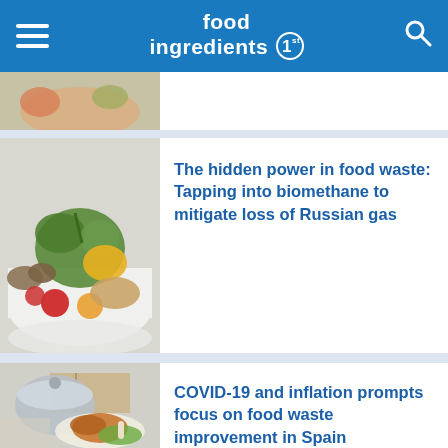food ingredients 1st
[Figure (photo): Partial view of a food article thumbnail showing vegetables/carrots]
[Figure (photo): Bowl of mixed food waste including vegetables, fruits, bread and other scraps]
The hidden power in food waste: Tapping into biomethane to mitigate loss of Russian gas
[Figure (photo): Food scraps on a plate including a roasted chicken leg, lettuce and other food waste, being scraped off]
COVID-19 and inflation prompts focus on food waste improvement in Spain